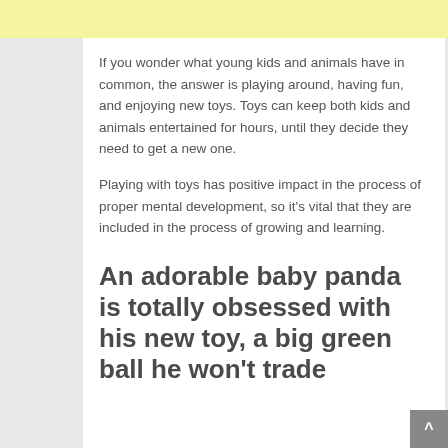If you wonder what young kids and animals have in common, the answer is playing around, having fun, and enjoying new toys. Toys can keep both kids and animals entertained for hours, until they decide they need to get a new one.
Playing with toys has positive impact in the process of proper mental development, so it's vital that they are included in the process of growing and learning.
An adorable baby panda is totally obsessed with his new toy, a big green ball he won't trade for anything